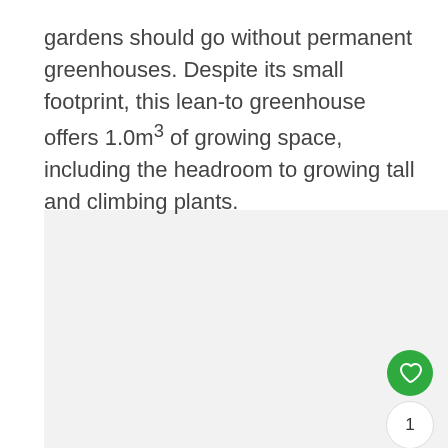gardens should go without permanent greenhouses. Despite its small footprint, this lean-to greenhouse offers 1.0m³ of growing space, including the headroom to growing tall and climbing plants.
[Figure (other): UI buttons: green heart/like button, count badge showing 1, and share button]